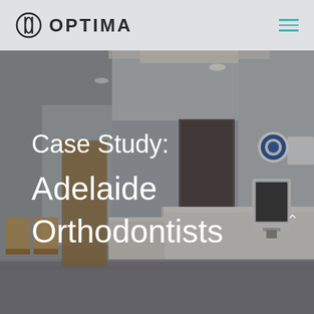OPTIMA
[Figure (photo): Interior of Adelaide Orthodontists dental clinic reception area. Modern white reception desk with tablet/kiosk device on right side. Waiting area chairs visible on left. Recessed ceiling lighting. Adelaide Orthodontists signage visible on right wall with logo circle.]
Case Study:

Adelaide
Orthodontists